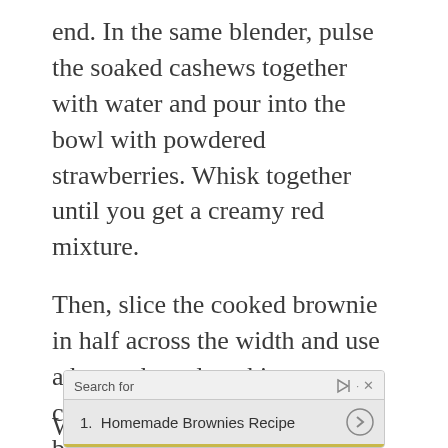end. In the same blender, pulse the soaked cashews together with water and pour into the bowl with powdered strawberries. Whisk together until you get a creamy red mixture.
Then, slice the cooked brownie in half across the width and use a heart-shaped cookie cutter to create cutouts on one half of the brownie. (I cut out three rows with two hearts each). Gently place the cutout half on top of the other and fill the cavities with cashew-strawberry frosting.
Whe mix
[Figure (other): Advertisement overlay showing a search bar with 'Search for' label, a play/forward icon, a close X button, and a search result item reading '1. Homemade Brownies Recipe' with a circular arrow button, and a yellow underline bar.]